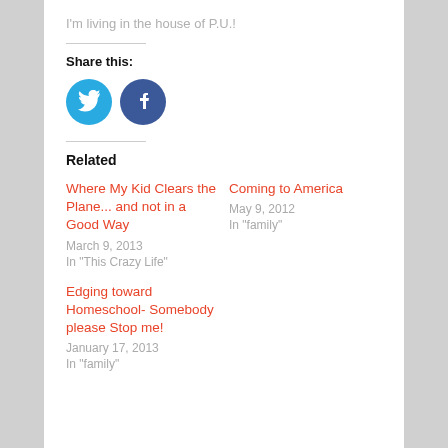I'm living in the house of P.U.!
Share this:
[Figure (other): Twitter and Facebook share icon buttons (round circles with bird and f logos)]
Related
Where My Kid Clears the Plane... and not in a Good Way
March 9, 2013
In "This Crazy Life"
Coming to America
May 9, 2012
In "family"
Edging toward Homeschool- Somebody please Stop me!
January 17, 2013
In "family"